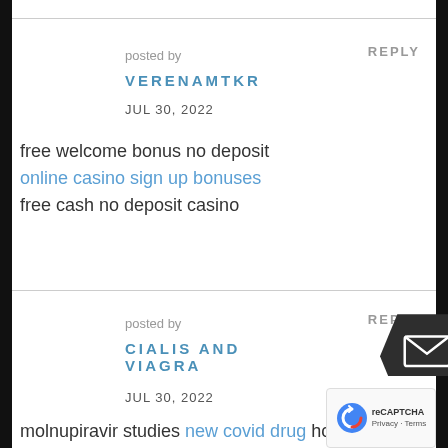posted by
VERENAMTKR
JUL 30, 2022
REPLY
free welcome bonus no deposit
online casino sign up bonuses
free cash no deposit casino
posted by
CIALIS AND VIAGRA
JUL 30, 2022
REPLY
molnupiravir studies new covid drug how much does molnupiravir cost molnupiravir capsules 200 mg price